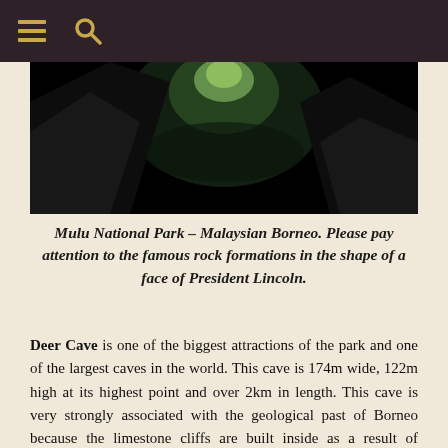Navigation header with hamburger menu and search icons
[Figure (photo): Cave interior photo from Mulu National Park, Malaysian Borneo, showing dark cave walls with light visible through the cave opening, rock formations visible]
Mulu National Park – Malaysian Borneo. Please pay attention to the famous rock formations in the shape of a face of President Lincoln.
Deer Cave is one of the biggest attractions of the park and one of the largest caves in the world. This cave is 174m wide, 122m high at its highest point and over 2km in length. This cave is very strongly associated with the geological past of Borneo because the limestone cliffs are built inside as a result of compressed sea shells and further developed in the resulting lagoons formed by coral reefs. To realize the enormous size of this cave, unfortunately, my